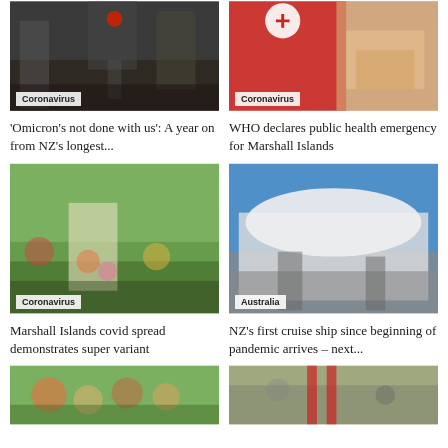[Figure (photo): Rainy street scene with red traffic light]
Coronavirus
'Omicron's not done with us': A year on from NZ's longest...
[Figure (photo): Red Cross worker handing supplies to a woman]
Coronavirus
WHO declares public health emergency for Marshall Islands
[Figure (photo): Crowd of people outdoors wearing masks, Marshall Islands]
Coronavirus
Marshall Islands covid spread demonstrates super variant
[Figure (photo): Large cruise ship docked at port under blue sky]
Australia
NZ's first cruise ship since beginning of pandemic arrives – next...
[Figure (photo): Crowd of people outdoors, partial view]
[Figure (photo): Outdoor scene with flags]